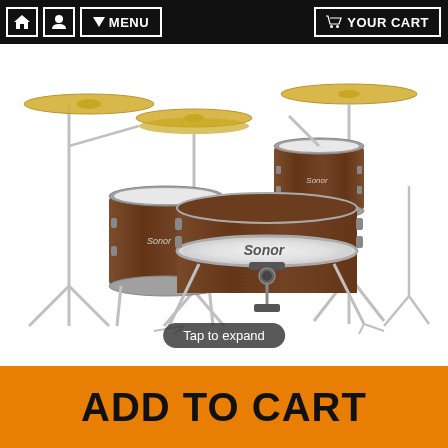🏠 👤 ▾ MENU    🛒 YOUR CART
[Figure (photo): A Sonor drum kit with wooden finish (rosewood/walnut), consisting of a bass drum, floor tom, rack tom, and snare drum, with cymbals on stands. The drums have a dark wood grain wrap finish and chrome hardware.]
Tap to expand
ADD TO CART